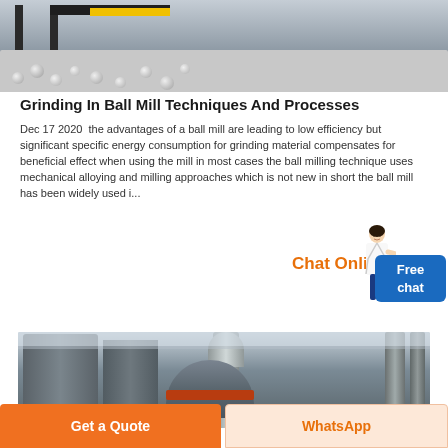[Figure (photo): Industrial ball mill machinery with yellow conveyor elements and steel balls, viewed from above in a factory setting]
Grinding In Ball Mill Techniques And Processes
Dec 17 2020  the advantages of a ball mill are leading to low efficiency but significant specific energy consumption for grinding material compensates for beneficial effect when using the mill in most cases the ball milling technique uses mechanical alloying and milling approaches which is not new in short the ball mill has been widely used i...
Chat Online
[Figure (photo): Industrial grinding mill equipment inside a large factory building with silos, pipes, and a vertical roller mill]
Get a Quote
WhatsApp